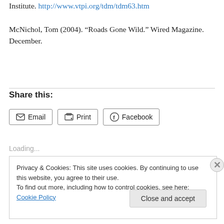Institute. http://www.vtpi.org/tdm/tdm63.htm

McNichol, Tom (2004). “Roads Gone Wild.” Wired Magazine. December.
Share this:
Email  Print  Facebook
Loading...
Privacy & Cookies: This site uses cookies. By continuing to use this website, you agree to their use.
To find out more, including how to control cookies, see here: Cookie Policy
Close and accept